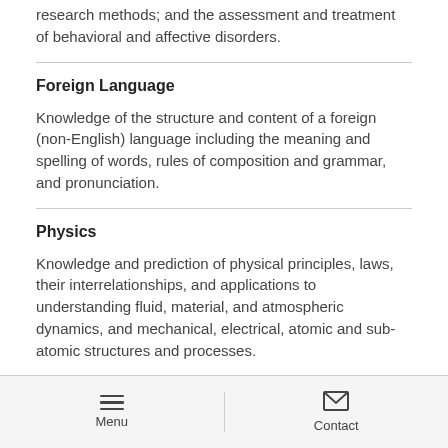interests; learning and motivation; psychological research methods; and the assessment and treatment of behavioral and affective disorders.
Foreign Language
Knowledge of the structure and content of a foreign (non-English) language including the meaning and spelling of words, rules of composition and grammar, and pronunciation.
Physics
Knowledge and prediction of physical principles, laws, their interrelationships, and applications to understanding fluid, material, and atmospheric dynamics, and mechanical, electrical, atomic and sub-atomic structures and processes.
Menu  Contact